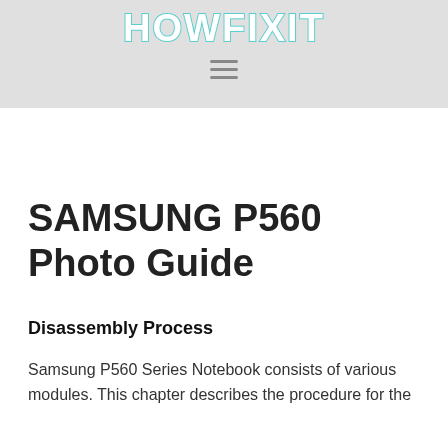HOWFIXIT
SAMSUNG P560 Photo Guide
Disassembly Process
Samsung P560 Series Notebook consists of various modules. This chapter describes the procedure for the